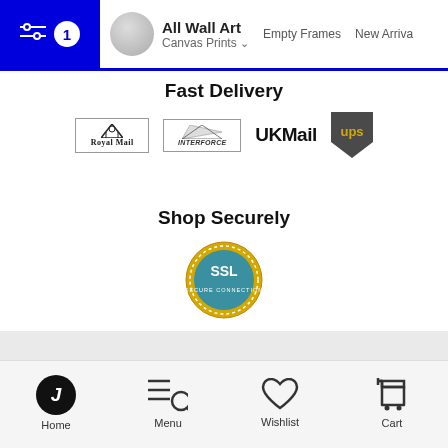All Wall Art | Canvas Prints | Empty Frames | New Arrivals
Fast Delivery
[Figure (logo): Courier logos: Royal Mail, Interforce, UK Mail, UPS]
Shop Securely
[Figure (logo): SSL secure badge]
[Figure (infographic): Social media icons: Instagram, Facebook, Pinterest; scroll-to-top button]
JUNIOR
Home | Menu | Wishlist | Cart